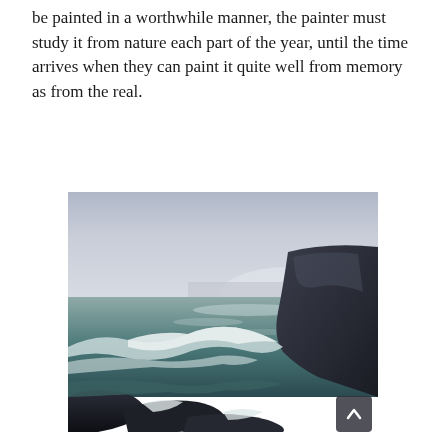be painted in a worthwhile manner, the painter must study it from nature each part of the year, until the time arrives when they can paint it quite well from memory as from the real.
[Figure (illustration): A seascape oil painting showing ocean waves crashing against dark rocks in the foreground, with a pale grey sky and distant light on the horizon. White foam from the waves is prominent, and large dark rocky formations are on the right side.]